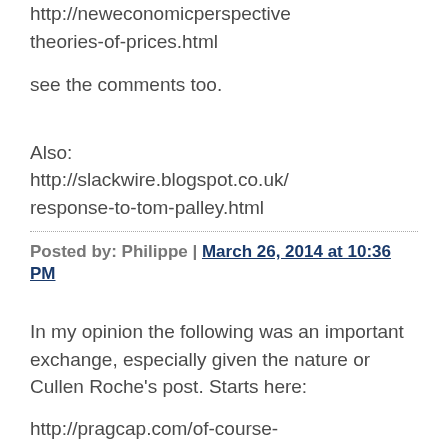http://neweconomicperspective theories-of-prices.html
see the comments too.
Also:
http://slackwire.blogspot.co.uk/ response-to-tom-palley.html
Posted by: Philippe | March 26, 2014 at 10:36 PM
In my opinion the following was an important exchange, especially given the nature or Cullen Roche's post. Starts here:
http://pragcap.com/of-course-